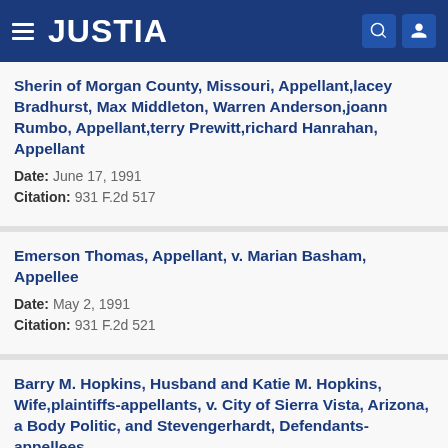JUSTIA
Sherin of Morgan County, Missouri, Appellant,lacey Bradhurst, Max Middleton, Warren Anderson,joann Rumbo, Appellant,terry Prewitt,richard Hanrahan, Appellant
Date: June 17, 1991
Citation: 931 F.2d 517
Emerson Thomas, Appellant, v. Marian Basham, Appellee
Date: May 2, 1991
Citation: 931 F.2d 521
Barry M. Hopkins, Husband and Katie M. Hopkins, Wife,plaintiffs-appellants, v. City of Sierra Vista, Arizona, a Body Politic, and Stevengerhardt, Defendants-appellees